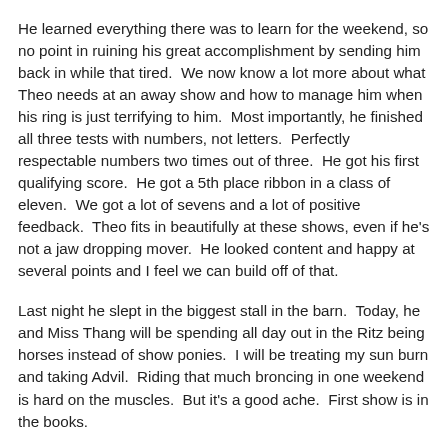He learned everything there was to learn for the weekend, so no point in ruining his great accomplishment by sending him back in while that tired.  We now know a lot more about what Theo needs at an away show and how to manage him when his ring is just terrifying to him.  Most importantly, he finished all three tests with numbers, not letters.  Perfectly respectable numbers two times out of three.  He got his first qualifying score.  He got a 5th place ribbon in a class of eleven.  We got a lot of sevens and a lot of positive feedback.  Theo fits in beautifully at these shows, even if he's not a jaw dropping mover.  He looked content and happy at several points and I feel we can build off of that.
Last night he slept in the biggest stall in the barn.  Today, he and Miss Thang will be spending all day out in the Ritz being horses instead of show ponies.  I will be treating my sun burn and taking Advil.  Riding that much broncing in one weekend is hard on the muscles.  But it's a good ache.  First show is in the books.